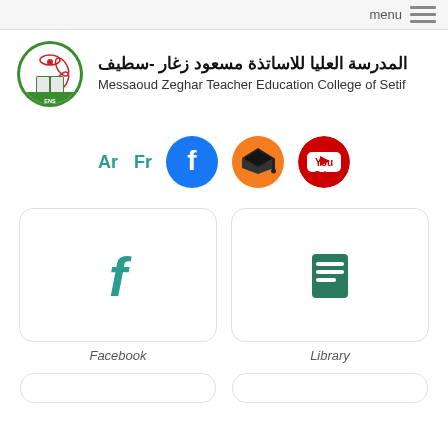menu
[Figure (logo): ENS Setif institution circular logo with book and atom graphic, green border]
المدرسة العليا للاساتذة مسعود زغار -سطيف
Messaoud Zeghar Teacher Education College of Setif
Ar  Fr
[Figure (logo): Facebook blue circle icon with white f]
[Figure (logo): Moodle orange circle icon with graduation cap]
[Figure (logo): YouTube red circle icon partially cut off]
[Figure (illustration): Facebook link card with teal Facebook f icon]
Facebook
[Figure (illustration): Library link card with teal book/lines icon]
Library